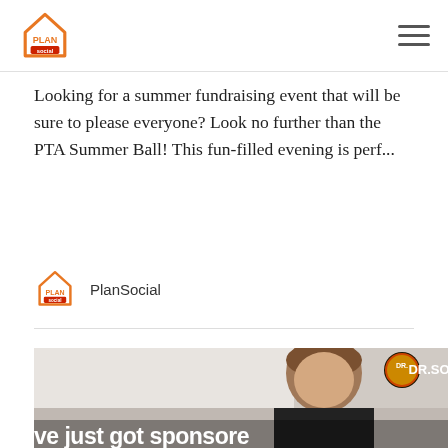PlanSocial
Looking for a summer fundraising event that will be sure to please everyone? Look no further than the PTA Summer Ball! This fun-filled evening is perf...
PlanSocial
[Figure (photo): A young man with brown hair smiling, wearing a dark jacket. A logo in the top right corner reads 'DR.SO'. White bold text at the bottom reads 've just got sponsore']